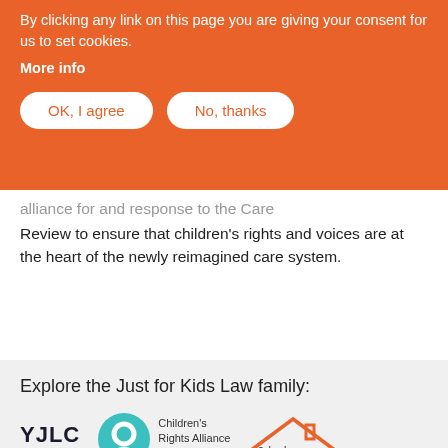By clicking any link on this page you are giving your consent for us to set cookies.
More info
OK, I agree
No, thanks
...alliance for and response to the Care Review to ensure that children's rights and voices are at the heart of the newly reimagined care system.
Explore the Just for Kids Law family:
[Figure (logo): YJLC - Youth Justice Legal Centre logo]
[Figure (logo): Children's Rights Alliance for England circular logo]
Children's Rights Alliance for England
[Figure (logo): School Exclusions Hub logo with house outline]